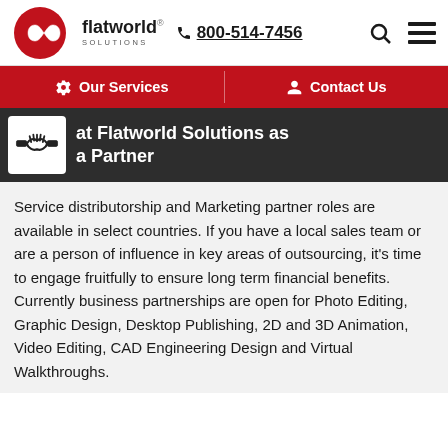flatworld solutions  800-514-7456
Our Services  |  Contact Us
at Flatworld Solutions as a Partner
Service distributorship and Marketing partner roles are available in select countries. If you have a local sales team or are a person of influence in key areas of outsourcing, it's time to engage fruitfully to ensure long term financial benefits. Currently business partnerships are open for Photo Editing, Graphic Design, Desktop Publishing, 2D and 3D Animation, Video Editing, CAD Engineering Design and Virtual Walkthroughs.